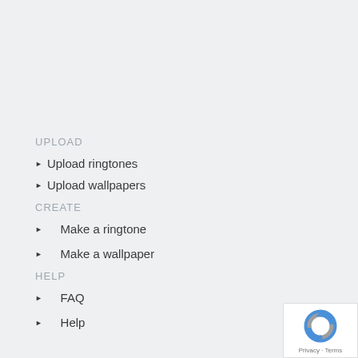UPLOAD
Upload ringtones
Upload wallpapers
CREATE
Make a ringtone
Make a wallpaper
HELP
FAQ
Help